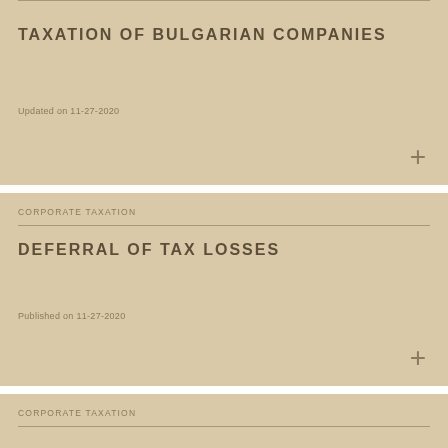TAXATION OF BULGARIAN COMPANIES
Updated on 11-27-2020
CORPORATE TAXATION
DEFERRAL OF TAX LOSSES
Published on 11-27-2020
CORPORATE TAXATION